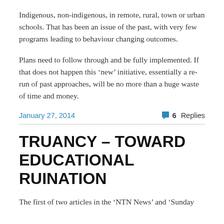Indigenous, non-indigenous, in remote, rural, town or urban schools. That has been an issue of the past, with very few programs leading to behaviour changing outcomes.
Plans need to follow through and be fully implemented. If that does not happen this ‘new’ initiative, essentially a re-run of past approaches, will be no more than a huge waste of time and money.
January 27, 2014
6 Replies
TRUANCY – TOWARD EDUCATIONAL RUINATION
The first of two articles in the ‘NTN News’ and ‘Sunday